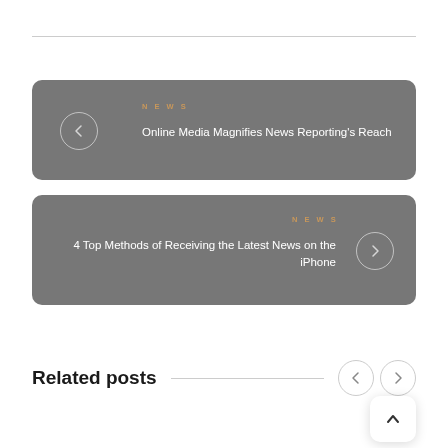[Figure (other): Navigation card with left arrow and NEWS label. Title: Online Media Magnifies News Reporting's Reach]
[Figure (other): Navigation card with right arrow and NEWS label. Title: 4 Top Methods of Receiving the Latest News on the iPhone]
Related posts